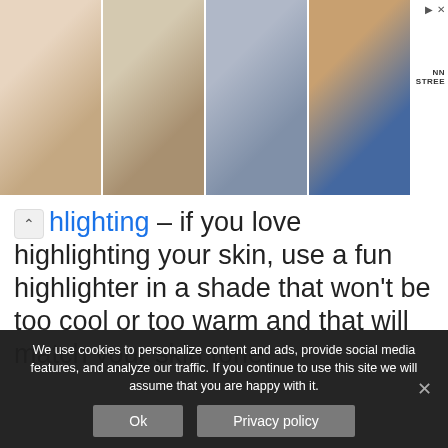[Figure (photo): Advertisement banner showing four shoe product images (strappy heels, platform sandals, grey sneakers, blue denim heels) with NNSTREE branding]
highlighting – if you love highlighting your skin, use a fun highlighter in a shade that won't be too cool or too warm and that will match your skin tone.
[Figure (photo): Photo of a person with red/auburn hair viewed from above, on a grey textured background]
We use cookies to personalize content and ads, provide social media features, and analyze our traffic. If you continue to use this site we will assume that you are happy with it.